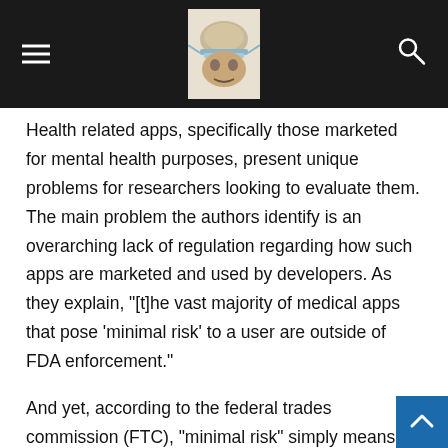Health related apps, specifically those marketed for mental health purposes, present unique problems for researchers looking to evaluate them. The main problem the authors identify is an overarching lack of regulation regarding how such apps are marketed and used by developers. As they explain, "[t]he vast majority of medical apps that pose ‘minimal risk’ to a user are outside of FDA enforcement."
And yet, according to the federal trades commission (FTC), “minimal risk” simply means that an app does not either diagnose or suggest treatment directly to users. Apps that are marketed directly for mental health purposes can thus operate beyond FDA regulation by only offering “self-help” advice and avoiding the use of specific clinical terms within the interface.